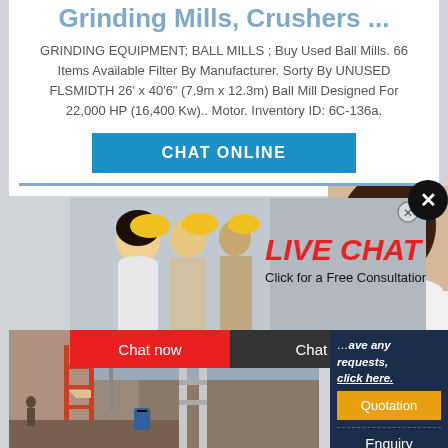Grinding Mills, Crushers ...
GRINDING EQUIPMENT; BALL MILLS ; Buy Used Ball Mills. 66 Items Available Filter By Manufacturer. Sorty By UNUSED FLSMIDTH 26' x 40'6" (7.9m x 12.3m) Ball Mill Designed For 22,000 HP (16,400 Kw).. Motor. Inventory ID: 6C-136a.
[Figure (screenshot): CHAT ONLINE button in blue]
[Figure (screenshot): Live chat popup with workers in hard hats, LIVE CHAT label in red, 'Click for a Free Consultation', Chat now (red) and Chat later (dark) buttons, and a right panel with Quotation, Enquiry, limingjlmofen@sina.com options on dark blue background. A close X button in top right corner.]
[Figure (photo): Industrial facility with grinding mill equipment, red scaffolding structure]